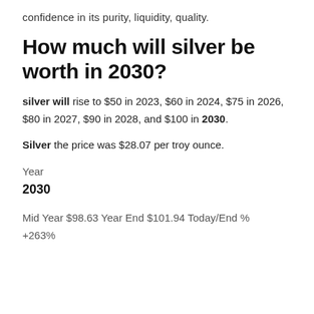confidence in its purity, liquidity, quality.
How much will silver be worth in 2030?
silver will rise to $50 in 2023, $60 in 2024, $75 in 2026, $80 in 2027, $90 in 2028, and $100 in 2030.
Silver the price was $28.07 per troy ounce.
Year
2030
Mid Year $98.63 Year End $101.94 Today/End % +263%